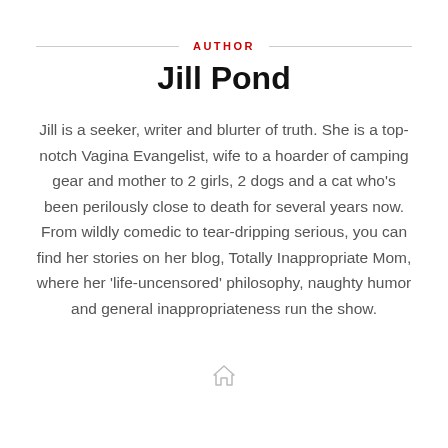AUTHOR
Jill Pond
Jill is a seeker, writer and blurter of truth. She is a top-notch Vagina Evangelist, wife to a hoarder of camping gear and mother to 2 girls, 2 dogs and a cat who's been perilously close to death for several years now. From wildly comedic to tear-dripping serious, you can find her stories on her blog, Totally Inappropriate Mom, where her 'life-uncensored' philosophy, naughty humor and general inappropriateness run the show.
[Figure (other): Small decorative house/home icon at bottom center of page]